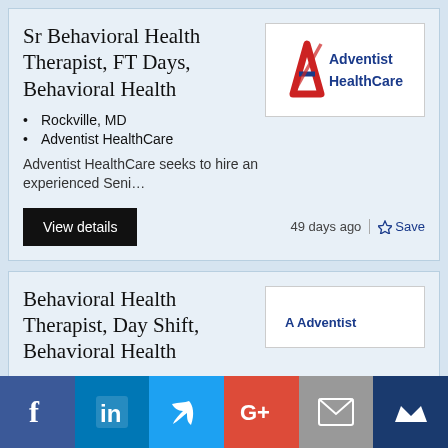Sr Behavioral Health Therapist, FT Days, Behavioral Health
Rockville, MD
Adventist HealthCare
[Figure (logo): Adventist HealthCare logo with red/blue A icon and company name]
Adventist HealthCare seeks to hire an experienced Seni…
View details   49 days ago   ☆ Save
Behavioral Health Therapist, Day Shift, Behavioral Health
Rockville, MD
[Figure (logo): Adventist HealthCare logo (partial)]
[Figure (infographic): Social sharing bar with Facebook, LinkedIn, Twitter, Google+, Email, and crown/bookmark icons]